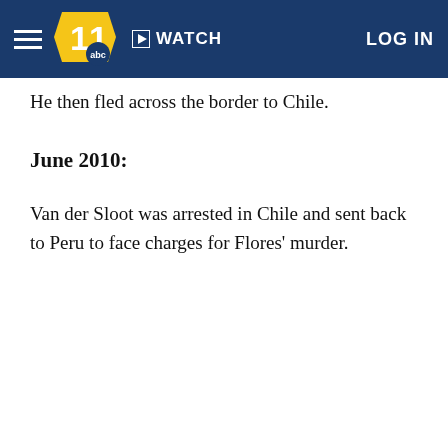WATCH | LOG IN
He then fled across the border to Chile.
June 2010:
Van der Sloot was arrested in Chile and sent back to Peru to face charges for Flores' murder.